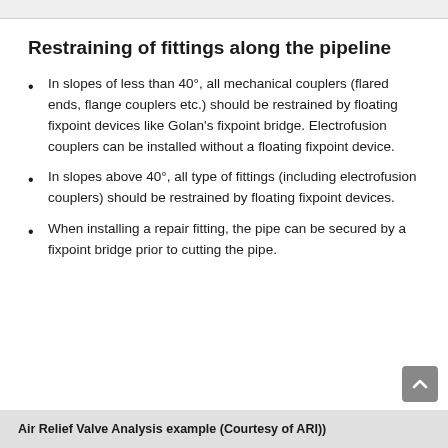Restraining of fittings along the pipeline
In slopes of less than 40°, all mechanical couplers (flared ends, flange couplers etc.) should be restrained by floating fixpoint devices like Golan's fixpoint bridge. Electrofusion couplers can be installed without a floating fixpoint device.
In slopes above 40°, all type of fittings (including electrofusion couplers) should be restrained by floating fixpoint devices.
When installing a repair fitting, the pipe can be secured by a fixpoint bridge prior to cutting the pipe.
Air Relief Valve Analysis example (Courtesy of ARI))